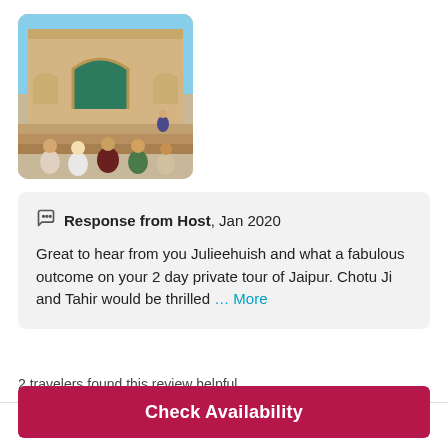[Figure (photo): Group photo of four people standing in front of a sandstone palace/fort building with arched doorway, steps, and ornate architecture. Appears to be Amber Fort or similar Jaipur landmark.]
Response from Host, Jan 2020
Great to hear from you Julieehuish and what a fabulous outcome on your 2 day private tour of Jaipur. Chotu Ji and Tahir would be thrilled … More
2 travelers found this review helpful
Check Availability